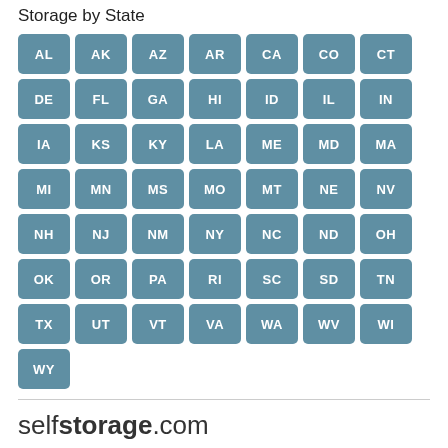Storage by State
AL AK AZ AR CA CO CT DE FL GA HI ID IL IN IA KS KY LA ME MD MA MI MN MS MO MT NE NV NH NJ NM NY NC ND OH OK OR PA RI SC SD TN TX UT VT VA WA WV WI WY
selfstorage.com
SelfStorage.com is one of the original self-storage comparison shopping sites, launched to help customers find the best deal on storage units.
Featuring more than 20,000 storage facilities nationwide, you can find a cheap storage unit near you by searching on SelfStorage.com. Compare prices and unit sizes, and reserve your storage unit for free in minutes. No